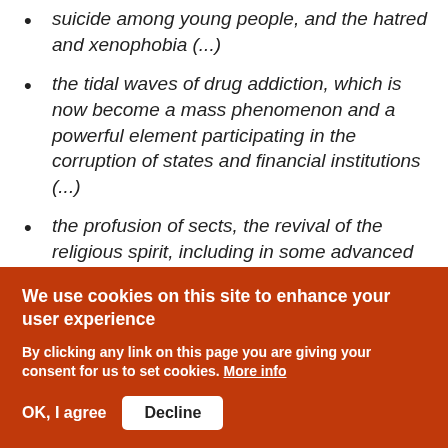suicide among young people, and the hatred and xenophobia (...)
the tidal waves of drug addiction, which is now become a mass phenomenon and a powerful element participating in the corruption of states and financial institutions (...)
the profusion of sects, the revival of the religious spirit, including in some advanced countries, the rejection of a rational, coherent and constructive thought (...)
the invasion of the same media by the
We use cookies on this site to enhance your user experience
By clicking any link on this page you are giving your consent for us to set cookies. More info
OK, I agree   Decline